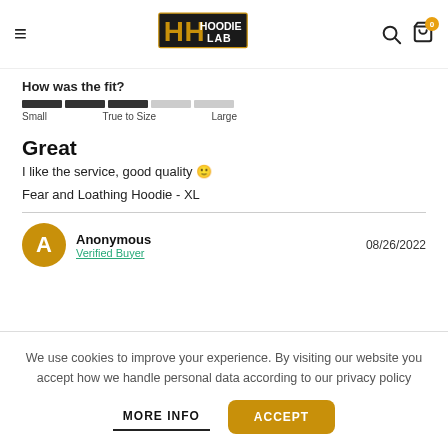Hoodie Lab — navigation header with logo, search and cart icons
How was the fit?
[Figure (infographic): Fit scale bar with 5 segments (3 dark, 2 light) labeled Small, True to Size, Large]
Great
I like the service, good quality 🙂
Fear and Loathing Hoodie - XL
Anonymous — Verified Buyer — 08/26/2022
We use cookies to improve your experience. By visiting our website you accept how we handle personal data according to our privacy policy